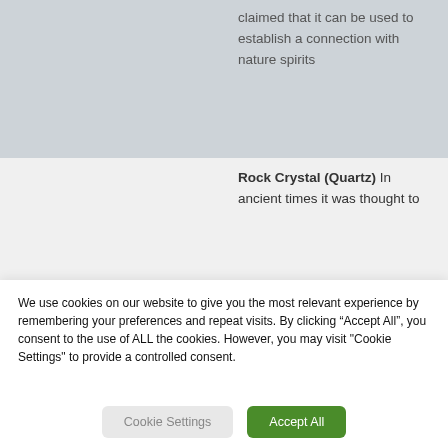claimed that it can be used to establish a connection with nature spirits
Rock Crystal (Quartz) In ancient times it was thought to
We use cookies on our website to give you the most relevant experience by remembering your preferences and repeat visits. By clicking “Accept All”, you consent to the use of ALL the cookies. However, you may visit "Cookie Settings" to provide a controlled consent.